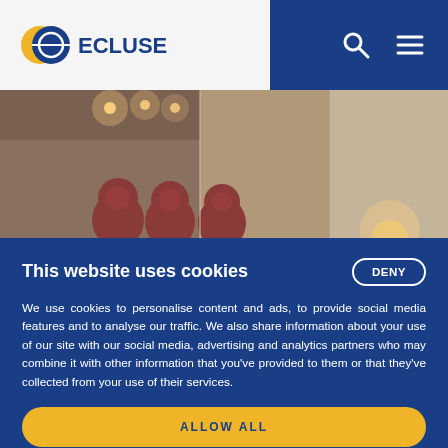ECLUSE — website header with logo and navigation icons
[Figure (photo): Interior photo of wine cellar with bottles on rack and warm lighting]
This website uses cookies
We use cookies to personalise content and ads, to provide social media features and to analyse our traffic. We also share information about your use of our site with our social media, advertising and analytics partners who may combine it with other information that you've provided to them or that they've collected from your use of their services.
DENY
ALLOW ALL
CUSTOMIZE